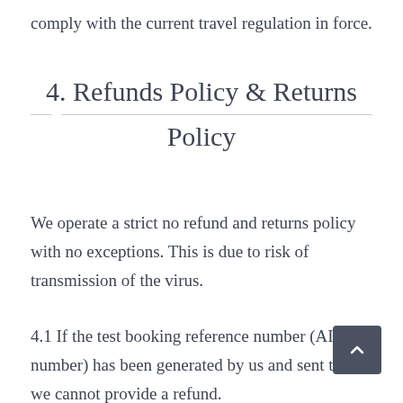comply with the current travel regulation in force.
4. Refunds Policy & Returns Policy
We operate a strict no refund and returns policy with no exceptions. This is due to risk of transmission of the virus.
4.1 If the test booking reference number (AISCT number) has been generated by us and sent to you we cannot provide a refund.